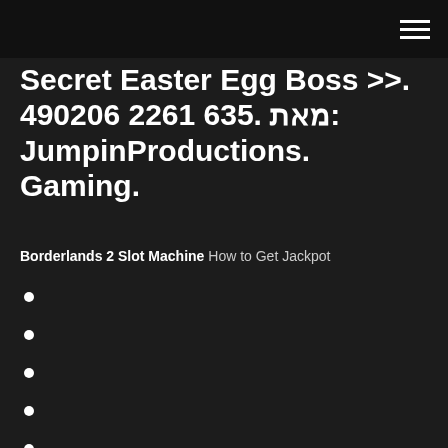Secret Easter Egg Boss >>. 490206 2261 635. מאת: JumpinProductions. Gaming.
Borderlands 2 Slot Machine How to Get Jackpot
World of tanks blitz slots
Mohegan sun free online slots